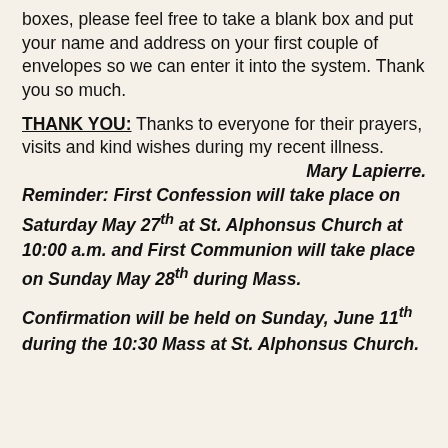boxes, please feel free to take a blank box and put your name and address on your first couple of envelopes so we can enter it into the system. Thank you so much.
THANK YOU: Thanks to everyone for their prayers, visits and kind wishes during my recent illness.  Mary Lapierre.
Reminder: First Confession will take place on Saturday May 27th at St. Alphonsus Church at 10:00 a.m. and First Communion will take place on Sunday May 28th during Mass.
Confirmation will be held on Sunday, June 11th during the 10:30 Mass at St. Alphonsus Church.